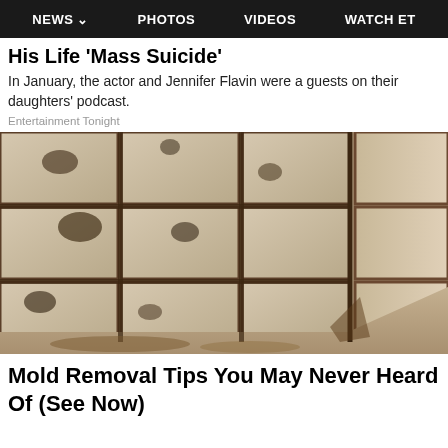NEWS   PHOTOS   VIDEOS   WATCH ET
His Life 'Mass Suicide'
In January, the actor and Jennifer Flavin were a guests on their daughters' podcast.
Entertainment Tonight
[Figure (photo): Close-up photo of heavily mold-stained and dirty bathroom tiles with dark grout lines in a corner shower]
Mold Removal Tips You May Never Heard Of (See Now)